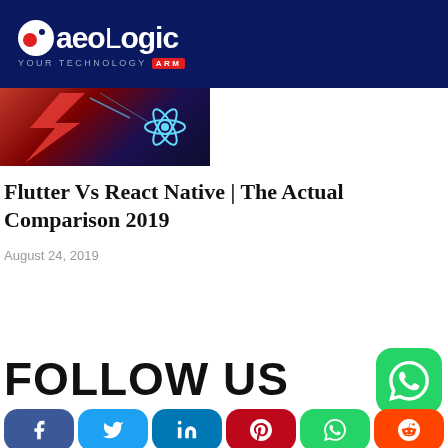AeoLogic — Your Technology Arm
[Figure (photo): Hero image with red and dark background, React Native atom icon on the right side]
Flutter Vs React Native | The Actual Comparison 2019
August 24, 2019
FOLLOW US
[Figure (infographic): Row of social media share buttons: Facebook, Twitter, LinkedIn, Pinterest, WhatsApp, Reddit, and a WhatsApp floating button]